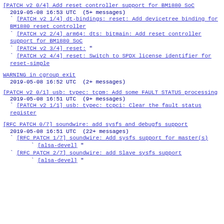[PATCH v2 0/4] Add reset controller support for BM1880 SoC
  2019-05-08 16:53 UTC  (5+ messages)
` [PATCH v2 1/4] dt-bindings: reset: Add devicetree binding for BM1880 reset controller
` [PATCH v2 2/4] arm64: dts: bitmain: Add reset controller support for BM1880 SoC
` [PATCH v2 3/4] reset: "
` [PATCH v2 4/4] reset: Switch to SPDX license identifier for reset-simple
WARNING in cgroup exit
  2019-05-08 16:52 UTC  (2+ messages)
[PATCH v2 0/1] usb: typec: tcpm: Add some FAULT STATUS processing
  2019-05-08 16:51 UTC  (9+ messages)
` [PATCH v2 1/1] usb: typec: tcpci: Clear the fault status register
[RFC PATCH 0/7] soundwire: add sysfs and debugfs support
  2019-05-08 16:51 UTC  (22+ messages)
` [RFC PATCH 1/7] soundwire: Add sysfs support for master(s)
    ` [alsa-devel] "
` [RFC PATCH 2/7] soundwire: add Slave sysfs support
    ` [alsa-devel] "